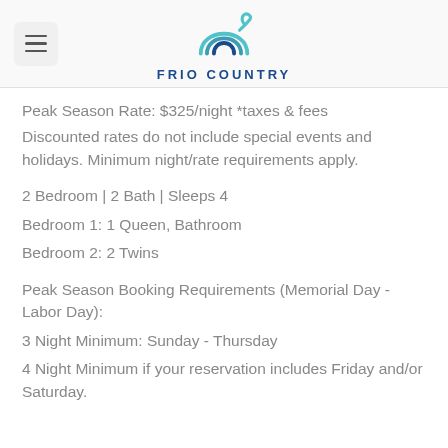FRIO COUNTRY
Peak Season Rate: $325/night *taxes & fees
Discounted rates do not include special events and holidays. Minimum night/rate requirements apply.
2 Bedroom | 2 Bath | Sleeps 4
Bedroom 1: 1 Queen, Bathroom
Bedroom 2: 2 Twins
Peak Season Booking Requirements (Memorial Day - Labor Day):
3 Night Minimum: Sunday - Thursday
4 Night Minimum if your reservation includes Friday and/or Saturday.